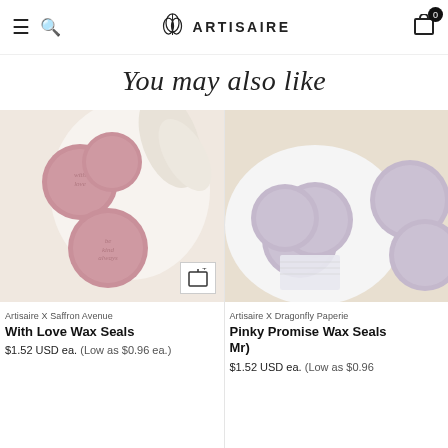Artisaire navigation header with hamburger menu, search icon, Artisaire logo, and cart icon with badge 0
You may also like
[Figure (photo): Pink/dusty rose wax seals with cursive script on a light cream background with white flowers. Three circular wax seals visible. Quick-add icon in bottom right corner.]
Artisaire X Saffron Avenue
With Love Wax Seals
$1.52 USD ea. (Low as $0.96 ea.)
[Figure (photo): Light lavender/lilac wax seals with floral pattern on a white plate, shown from above. Multiple circular wax seals stacked and spread on the plate.]
Artisaire X Dragonfly Paperie
Pinky Promise Wax Seals Mr)
$1.52 USD ea. (Low as $0.96